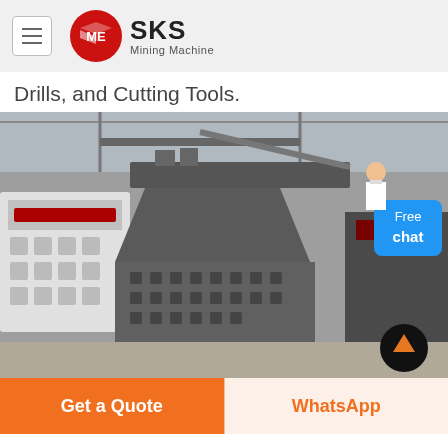[Figure (logo): SKS Mining Machine logo with red circular emblem and hamburger menu icon]
Drills, and Cutting Tools.
[Figure (photo): Industrial mining impact crusher machines in a warehouse/factory setting. Large grey metal crushing equipment on the floor. A 'Free chat' button overlay with a customer service representative illustration appears in the upper right corner. A scroll-up arrow button appears in the lower right.]
Get a Quote
WhatsApp